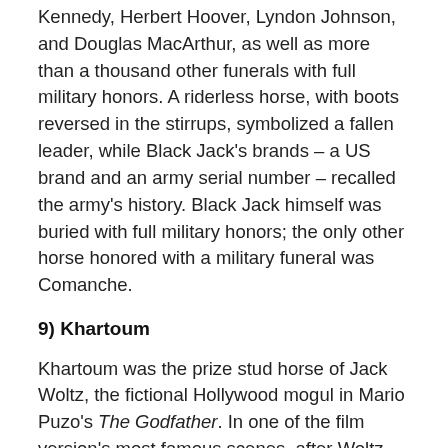Kennedy, Herbert Hoover, Lyndon Johnson, and Douglas MacArthur, as well as more than a thousand other funerals with full military honors. A riderless horse, with boots reversed in the stirrups, symbolized a fallen leader, while Black Jack's brands – a US brand and an army serial number – recalled the army's history. Black Jack himself was buried with full military honors; the only other horse honored with a military funeral was Comanche.
9) Khartoum
Khartoum was the prize stud horse of Jack Woltz, the fictional Hollywood mogul in Mario Puzo's The Godfather. In one of the film version's most famous scenes, after Woltz refuses requests from Don Vito Corleone to cast singer Johnny Fontane in a movie, Woltz wakes up to find Khartoum's head in bed with him… and agrees to use Fontane in the film. In the novel, Fontane wins the